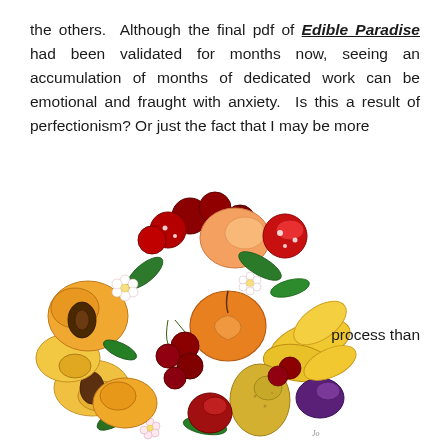the others.  Although the final pdf of Edible Paradise had been validated for months now, seeing an accumulation of months of dedicated work can be emotional and fraught with anxiety.  Is this a result of perfectionism? Or just the fact that I may be more
[Figure (illustration): A circular botanical illustration of various fruits including cherries, peaches, apricots, apples, plums, a pear, and flowers with green leaves, arranged in a circular composition. An artist's signature appears at the bottom right of the circle.]
process than